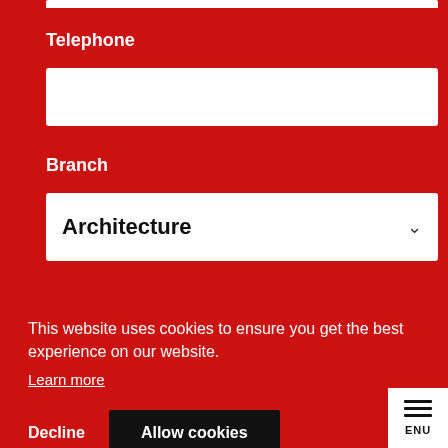Telephone
Branch
Architecture
This website uses cookies to ensure you get the best experience on our website.
Learn more
Decline
Allow cookies